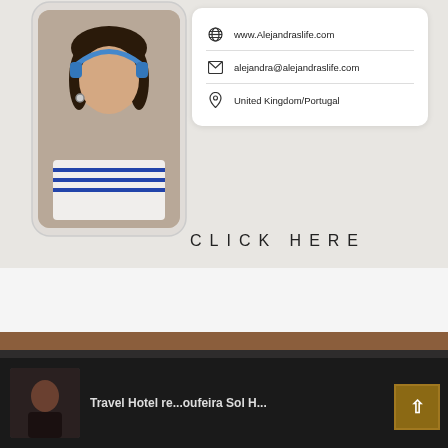[Figure (screenshot): Phone mockup showing a woman with headphones on a mobile device screen]
www.Alejandraslife.com
alejandra@alejandraslife.com
United Kingdom/Portugal
CLICK HERE
Check our Youtube
Privacy Preferences
I Agree
Travel Hotel re... oufeira Sol H...
[Figure (screenshot): Video thumbnail showing a woman at bottom of page]